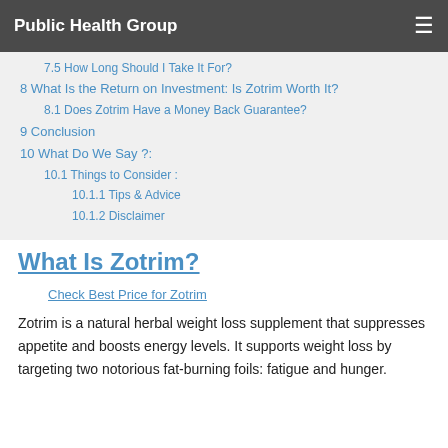Public Health Group
7.5  How Long Should I Take It For?
8  What Is the Return on Investment: Is Zotrim Worth It?
8.1  Does Zotrim Have a Money Back Guarantee?
9  Conclusion
10  What Do We Say ?:
10.1  Things to Consider :
10.1.1  Tips & Advice
10.1.2  Disclaimer
What Is Zotrim?
Check Best Price for Zotrim
Zotrim is a natural herbal weight loss supplement that suppresses appetite and boosts energy levels. It supports weight loss by targeting two notorious fat-burning foils: fatigue and hunger.